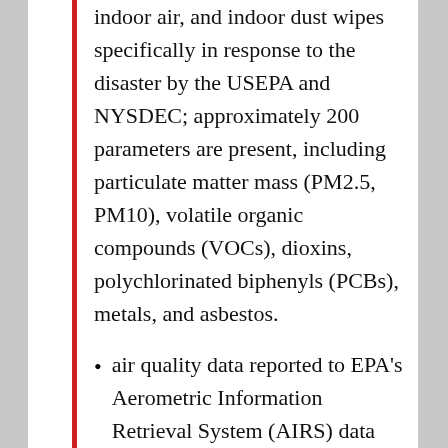indoor air, and indoor dust wipes specifically in response to the disaster by the USEPA and NYSDEC; approximately 200 parameters are present, including particulate matter mass (PM2.5, PM10), volatile organic compounds (VOCs), dioxins, polychlorinated biphenyls (PCBs), metals, and asbestos.
air quality data reported to EPA's Aerometric Information Retrieval System (AIRS) data repository from fixed-site air quality monitoring stations run by local, state and federal